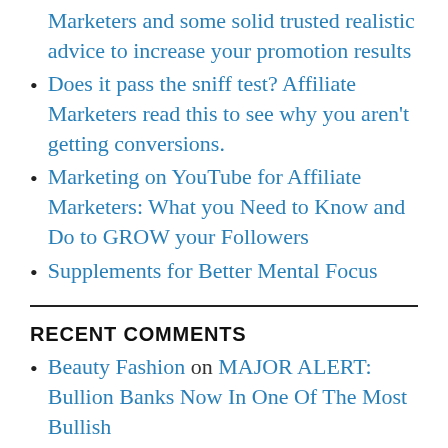Marketers and some solid trusted realistic advice to increase your promotion results
Does it pass the sniff test? Affiliate Marketers read this to see why you aren't getting conversions.
Marketing on YouTube for Affiliate Marketers: What you Need to Know and Do to GROW your Followers
Supplements for Better Mental Focus
RECENT COMMENTS
Beauty Fashion on MAJOR ALERT: Bullion Banks Now In One Of The Most Bullish